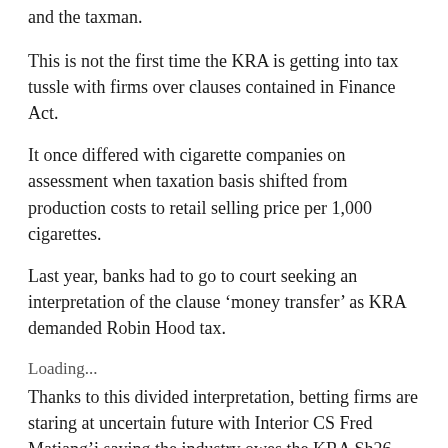and the taxman.
This is not the first time the KRA is getting into tax tussle with firms over clauses contained in Finance Act.
It once differed with cigarette companies on assessment when taxation basis shifted from production costs to retail selling price per 1,000 cigarettes.
Last year, banks had to go to court seeking an interpretation of the clause ‘money transfer’ as KRA demanded Robin Hood tax.
Loading...
Thanks to this divided interpretation, betting firms are staring at uncertain future with Interior CS Fred Matiang’i saying the industry owes the KRA Sh26 billion in tax arrears and that they should pay before their licences are renewed beyond July 1.